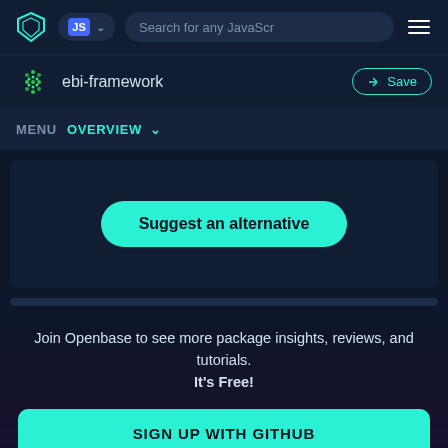[Figure (screenshot): Top navigation bar with shield logo, JS language pill selector, search bar placeholder 'Search for any JavaScr', and hamburger menu]
[Figure (screenshot): Package bar showing hexagonal green dot icon, 'ebi-framework' package name, and 'Save' button with teal border]
MENU  OVERVIEW ˅
Suggest an alternative
Join Openbase to see more package insights, reviews, and tutorials. It's Free!
SIGN UP WITH GITHUB
By signing up, you agree to our terms and privacy policy